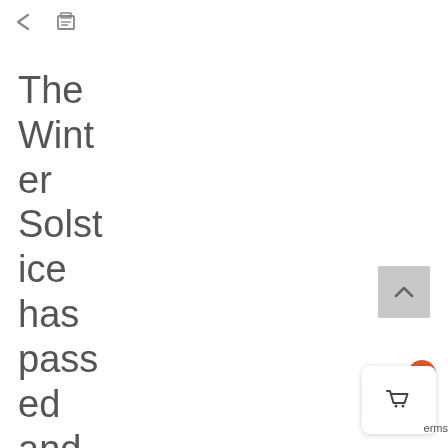[Figure (screenshot): Toolbar icons: share (less-than symbol) and print (document with lines)]
The Winter Solstice has passed and the days ahead will grad
[Figure (other): Scroll-to-top button: grey square with upward chevron arrow]
[Figure (other): Shopping cart widget: orange badge with '0', cart icon, and 'terms' text]